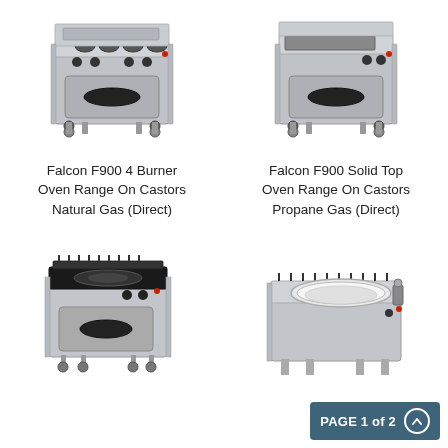[Figure (photo): Falcon F900 4 Burner Oven Range on Castors - commercial kitchen range with 4 gas burners on top and oven below, on wheels]
[Figure (photo): Falcon F900 Solid Top Oven Range on Castors - commercial kitchen range with solid top plate and oven below, on wheels]
Falcon F900 4 Burner Oven Range On Castors Natural Gas (Direct)
Falcon F900 Solid Top Oven Range On Castors Propane Gas (Direct)
[Figure (photo): Commercial electric solid top oven range with ceramic hob surface, oven below, on castors]
[Figure (photo): Commercial wok range / tilting bratt pan appliance with large round basin on stainless steel base]
PAGE 1 of 2